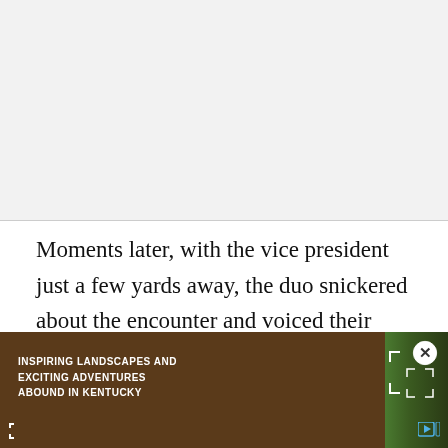[Figure (other): Blank/white-gray area at top of page, likely an image placeholder or advertisement space]
Moments later, with the vice president just a few yards away, the duo snickered about the encounter and voiced their doubts about Gore's affection for their home team. "He's just saying that to get our votes,"
[Figure (other): Advertisement overlay at bottom: 'Inspiring Landscapes and Exciting Adventures Abound in Kentucky' with photo of wooden barrels on grass, close button, and corner brackets]